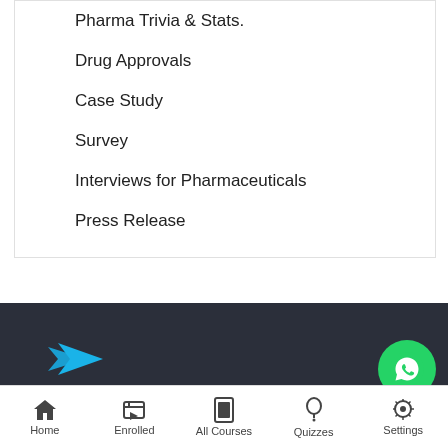Pharma Trivia & Stats.
Drug Approvals
Case Study
Survey
Interviews for Pharmaceuticals
Press Release
[Figure (logo): Blue arrow/paper-plane logo partially visible in dark footer area]
Home   Enrolled   All Courses   Quizzes   Settings